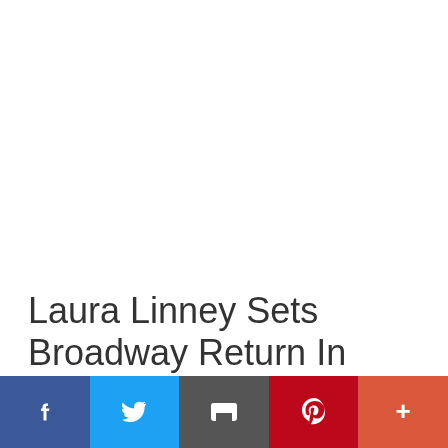Laura Linney Sets Broadway Return In New Play By ‘Proof’ Playwright David Auburn
[Figure (infographic): Social sharing bar with five buttons: Facebook (dark blue), Twitter (light blue), Email (dark gray), Pinterest (dark red), More/Plus (orange-red)]